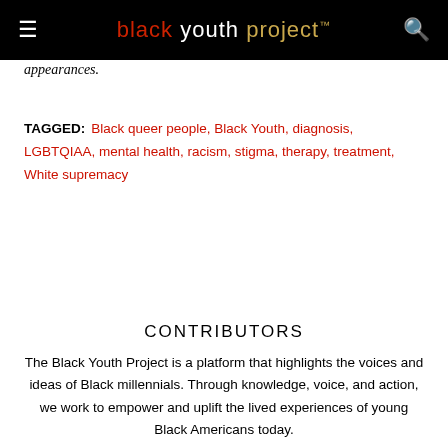black youth project™
appearances.
TAGGED: Black queer people, Black Youth, diagnosis, LGBTQIAA, mental health, racism, stigma, therapy, treatment, White supremacy
CONTRIBUTORS
The Black Youth Project is a platform that highlights the voices and ideas of Black millennials. Through knowledge, voice, and action, we work to empower and uplift the lived experiences of young Black Americans today.